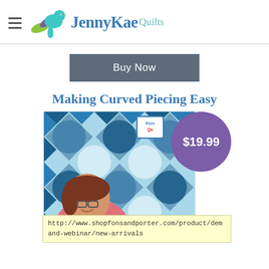[Figure (logo): JennyKae Quilts logo with colorful bird and text]
[Figure (other): Buy Now button in dark gray/slate color]
Making Curved Piecing Easy
[Figure (photo): Product image showing blue pinwheel quilt with woman smiling, Fons & Porter logo, price badge $19.99 in purple circle, URL tooltip showing http://www.shopfonsandporter.com/product/demand-webinar/new-arrivals, and pink bar at bottom reading 'Piecing Easy']
http://www.shopfonsandporter.com/product/demand-webinar/new-arrivals